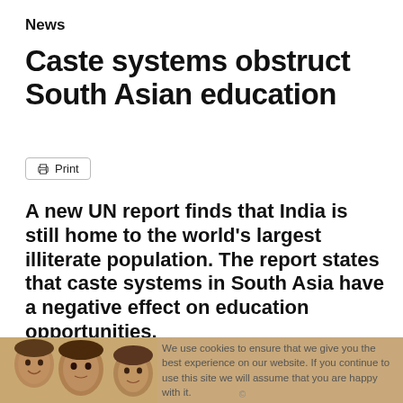News
Caste systems obstruct South Asian education
Print
A new UN report finds that India is still home to the world’s largest illiterate population. The report states that caste systems in South Asia have a negative effect on education opportunities.
[Figure (photo): Photograph of South Asian children, sepia/warm toned, with a cookie consent overlay notice reading: We use cookies to ensure that we give you the best experience on our website. If you continue to use this site we will assume that you are happy with it.]